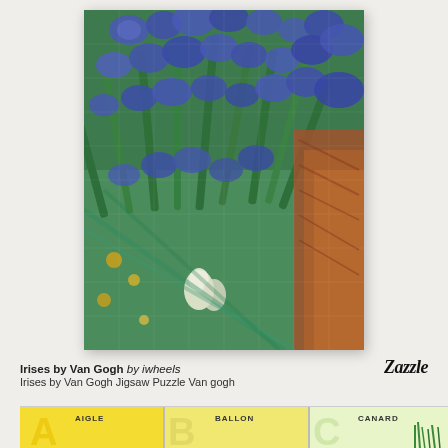[Figure (photo): Van Gogh Irises jigsaw puzzle displayed against a light gray wall. The puzzle shows the famous Irises painting with blue/purple iris flowers, green leaves, and earth tones. The puzzle appears assembled and complete.]
Irises by Van Gogh by iwheels
Zazzle
Irises by Van Gogh Jigsaw Puzzle Van gogh
[Figure (photo): Bottom portion showing colorful vintage alphabet/letter tiles. Visible sections show: A with text 'AIGLE', B with text 'BALLON', C with text 'CANARD' and green grass/reeds illustration. Letters are large block letters in yellow/cream background.]